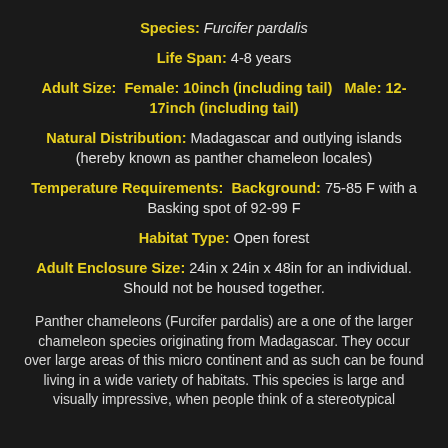Species: Furcifer pardalis
Life Span: 4-8 years
Adult Size: Female: 10inch (including tail)   Male: 12-17inch (including tail)
Natural Distribution: Madagascar and outlying islands (hereby known as panther chameleon locales)
Temperature Requirements: Background: 75-85 F with a Basking spot of 92-99 F
Habitat Type: Open forest
Adult Enclosure Size: 24in x 24in x 48in for an individual. Should not be housed together.
Panther chameleons (Furcifer pardalis) are a one of the larger chameleon species originating from Madagascar. They occur over large areas of this micro continent and as such can be found living in a wide variety of habitats. This species is large and visually impressive, when people think of a stereotypical